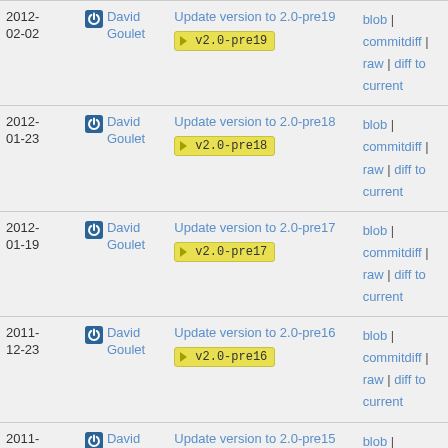| Date | Author | Commit | Actions |
| --- | --- | --- | --- |
| 2012-02-02 | David Goulet | Update version to 2.0-pre19
v2.0-pre19 | blob | commitdiff | raw | diff to current |
| 2012-01-23 | David Goulet | Update version to 2.0-pre18
v2.0-pre18 | blob | commitdiff | raw | diff to current |
| 2012-01-19 | David Goulet | Update version to 2.0-pre17
v2.0-pre17 | blob | commitdiff | raw | diff to current |
| 2011-12-23 | David Goulet | Update version to 2.0-pre16
v2.0-pre16 | blob | commitdiff | raw | diff to current |
| 2011-12-13 | David Goulet | Update version to 2.0-pre15
v2.0-pre15 | blob | commitdiff | raw | diff to current |